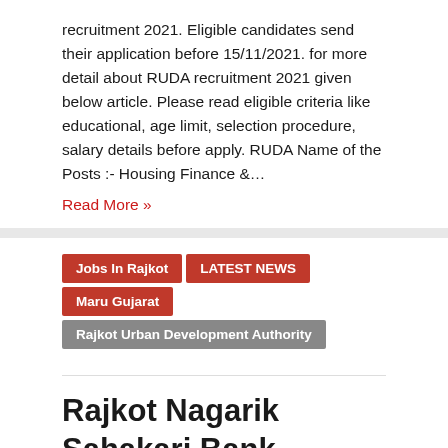recruitment 2021. Eligible candidates send their application before 15/11/2021. for more detail about RUDA recruitment 2021 given below article. Please read eligible criteria like educational, age limit, selection procedure, salary details before apply. RUDA Name of the Posts :- Housing Finance &…
Read More »
Jobs In Rajkot | LATEST NEWS | Maru Gujarat | Rajkot Urban Development Authority
Rajkot Nagarik Sahakari Bank Limited (RNSBL) Recruitment for Various Manager Posts 2021